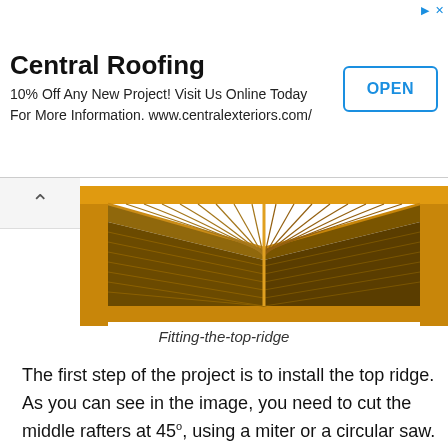Central Roofing — 10% Off Any New Project! Visit Us Online Today For More Information. www.centralexteriors.com/ — OPEN
[Figure (illustration): 3D rendering of a wooden roof frame showing the top ridge being fitted, with angled rafters and ridge board visible from above.]
Fitting-the-top-ridge
The first step of the project is to install the top ridge. As you can see in the image, you need to cut the middle rafters at 45°, using a miter or a circular saw. Align the components with great care, if you want to get a professional result.
Use a spirit level to check if the top ridge is horizontal. Drill pilot holes trough the rafters before driving the 5"